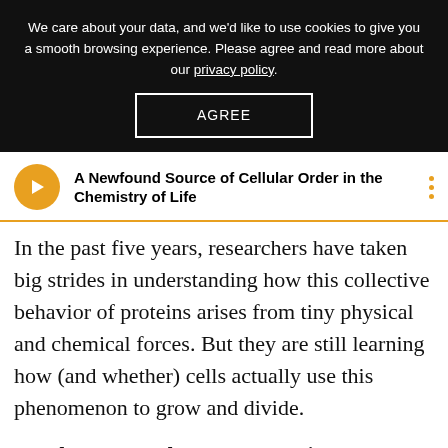We care about your data, and we'd like to use cookies to give you a smooth browsing experience. Please agree and read more about our privacy policy.
AGREE
A Newfound Source of Cellular Order in the Chemistry of Life
In the past five years, researchers have taken big strides in understanding how this collective behavior of proteins arises from tiny physical and chemical forces. But they are still learning how (and whether) cells actually use this phenomenon to grow and divide.
Condensates and Gene Expression